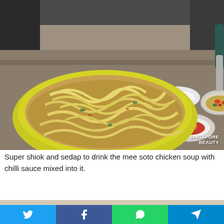[Figure (photo): A large yellow-green bowl of mee soto (noodle soup) with a silver spoon held over it containing broth with red chilli flakes, and two small sauce dishes on the side — one with chilli sauce. Watermark reads SINGAPORE BEAUTY.]
Super shiok and sedap to drink the mee soto chicken soup with chilli sauce mixed into it.
[Figure (photo): Partial view of another food photo at bottom, mostly cropped.]
[Figure (infographic): Social media sharing bar with Twitter, Facebook, WhatsApp, and Telegram buttons.]